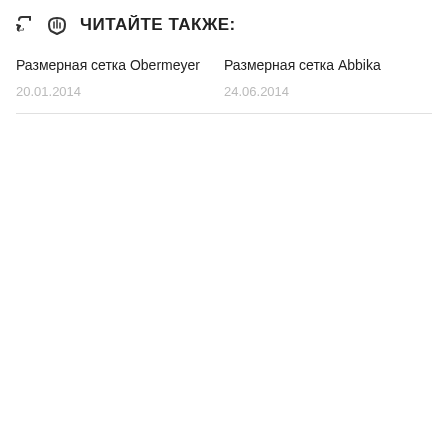ЧИТАЙТЕ ТАКЖЕ:
Размерная сетка Obermeyer
20.01.2014
Размерная сетка Abbika
24.06.2014